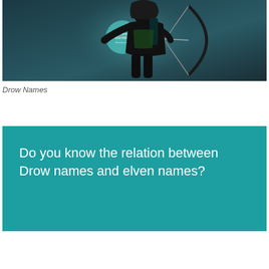[Figure (illustration): Dark-toned fantasy illustration of an archer in black armor holding a bow, with a teal circular watermark/logo in the center, set against a dark teal/grey background.]
Drow Names
Do you know the relation between Drow names and elven names?